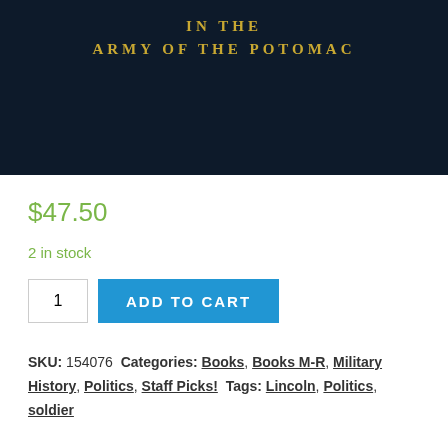[Figure (illustration): Book cover image on dark background with text 'IN THE ARMY OF THE POTOMAC' in gold/yellow letters]
$47.50
2 in stock
1  ADD TO CART
SKU: 154076  Categories: Books, Books M-R, Military History, Politics, Staff Picks!  Tags: Lincoln, Politics, soldier
Description	Additional information